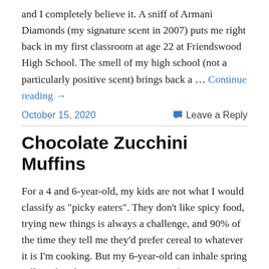and I completely believe it. A sniff of Armani Diamonds (my signature scent in 2007) puts me right back in my first classroom at age 22 at Friendswood High School. The smell of my high school (not a particularly positive scent) brings back a … Continue reading →
October 15, 2020   💬 Leave a Reply
Chocolate Zucchini Muffins
For a 4 and 6-year-old, my kids are not what I would classify as "picky eaters". They don't like spicy food, trying new things is always a challenge, and 90% of the time they tell me they'd prefer cereal to whatever it is I'm cooking. But my 6-year-old can inhale spring rolls and sushi at an … Continue reading →